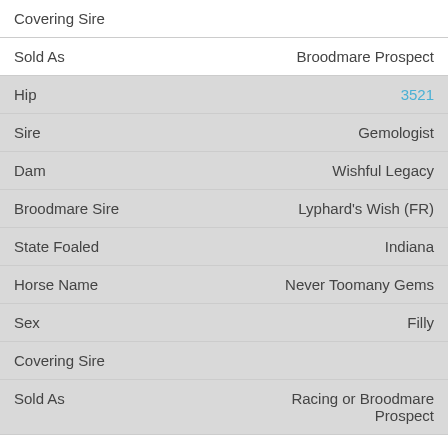| Field | Value |
| --- | --- |
| Covering Sire |  |
| Sold As | Broodmare Prospect |
| Hip | 3521 |
| Sire | Gemologist |
| Dam | Wishful Legacy |
| Broodmare Sire | Lyphard's Wish (FR) |
| State Foaled | Indiana |
| Horse Name | Never Toomany Gems |
| Sex | Filly |
| Covering Sire |  |
| Sold As | Racing or Broodmare Prospect |
| Hip | 3533 |
| Sire | English Channel |
| Dam | Paulownia |